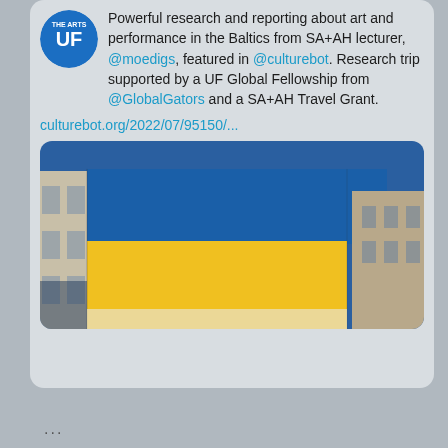Powerful research and reporting about art and performance in the Baltics from SA+AH lecturer, @moedigs, featured in @culturebot. Research trip supported by a UF Global Fellowship from @GlobalGators and a SA+AH Travel Grant.
culturebot.org/2022/07/95150/...
[Figure (photo): A large Ukrainian flag (blue and yellow) draped on the facade of a building, photographed from below against a blue sky. Adjacent building visible on the right.]
...